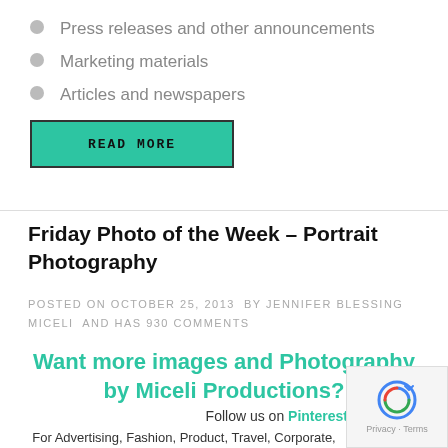Press releases and other announcements
Marketing materials
Articles and newspapers
READ MORE
Friday Photo of the Week – Portrait Photography
POSTED ON OCTOBER 25, 2013  BY JENNIFER BLESSING MICELI  AND HAS 930 COMMENTS
Want more images and Photography by Miceli Productions?
Follow us on Pinterest
For Advertising, Fashion, Product, Travel, Corporate, Portrait, Nature, Fine Art.